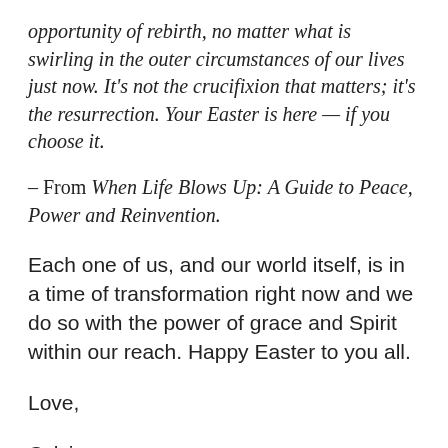opportunity of rebirth, no matter what is swirling in the outer circumstances of our lives just now. It's not the crucifixion that matters; it's the resurrection. Your Easter is here — if you choose it.
– From When Life Blows Up: A Guide to Peace, Power and Reinvention.
Each one of us, and our world itself, is in a time of transformation right now and we do so with the power of grace and Spirit within our reach. Happy Easter to you all.
Love,
Cylvia